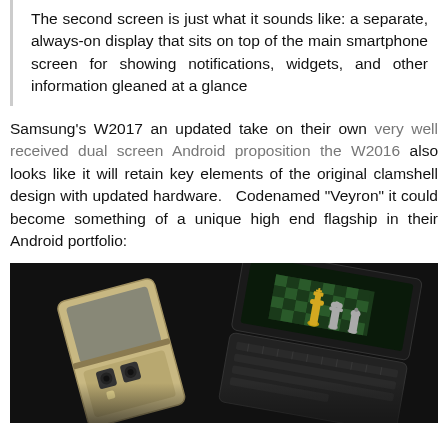The second screen is just what it sounds like: a separate, always-on display that sits on top of the main smartphone screen for showing notifications, widgets, and other information gleaned at a glance
Samsung's W2017 an updated take on their own very well received dual screen Android proposition the W2016 also looks like it will retain key elements of the original clamshell design with updated hardware. Codenamed "Veyron" it could become something of a unique high end flagship in their Android portfolio:
[Figure (photo): Photo of the Samsung W2017 clamshell/flip phone showing two phones open at an angle against a dark background. One phone shows a gold/champagne color with dual rear cameras visible, the other shows a dark color with a chess game displayed on the screen and a physical keyboard.]